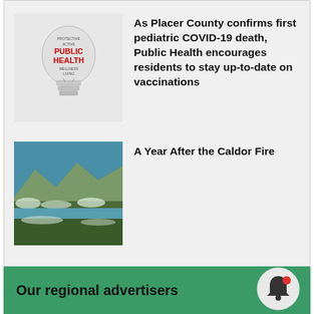[Figure (illustration): Public Health lightbulb word-cloud illustration with red PUBLIC HEALTH text]
As Placer County confirms first pediatric COVID-19 death, Public Health encourages residents to stay up-to-date on vaccinations
[Figure (photo): Photograph of forest landscape after Caldor Fire showing trees and blue lake/sky]
A Year After the Caldor Fire
Our regional advertisers